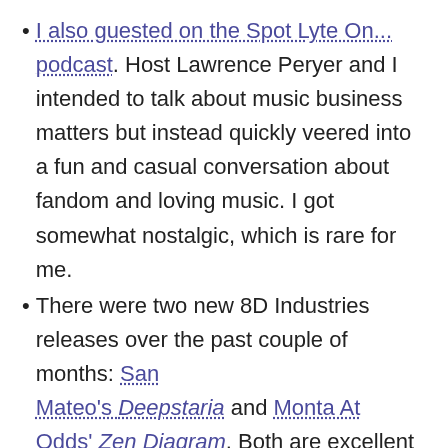I also guested on the Spot Lyte On... podcast. Host Lawrence Peryer and I intended to talk about music business matters but instead quickly veered into a fun and casual conversation about fandom and loving music. I got somewhat nostalgic, which is rare for me.
There were two new 8D Industries releases over the past couple of months: San Mateo's Deepstaria and Monta At Odds' Zen Diagram. Both are excellent (OK, I'm biased, but I wouldn't put them